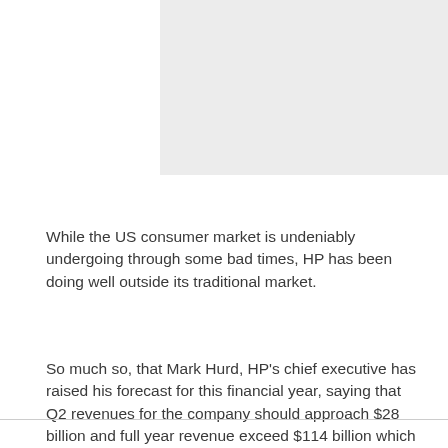[Figure (other): Gray image placeholder at the top right of the page]
While the US consumer market is undeniably undergoing through some bad times, HP has been doing well outside its traditional market.
So much so, that Mark Hurd, HP's chief executive has raised his forecast for this financial year, saying that Q2 revenues for the company should approach $28 billion and full year revenue exceed $114 billion which is a 9 percent increase over last year's revenue.